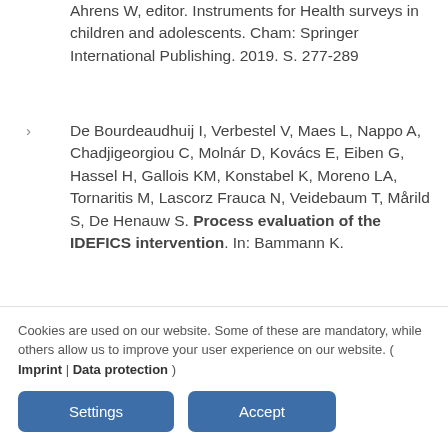Ahrens W, editor. Instruments for Health surveys in children and adolescents. Cham: Springer International Publishing. 2019. S. 277-289
De Bourdeaudhuij I, Verbestel V, Maes L, Nappo A, Chadjigeorgiou C, Molnár D, Kovács E, Eiben G, Hassel H, Gallois KM, Konstabel K, Moreno LA, Tornaritis M, Lascorz Frauca N, Veidebaum T, Mårild S, De Henauw S. Process evaluation of the IDEFICS intervention. In: Bammann K.
Cookies are used on our website. Some of these are mandatory, while others allow us to improve your user experience on our website. ( Imprint | Data protection )